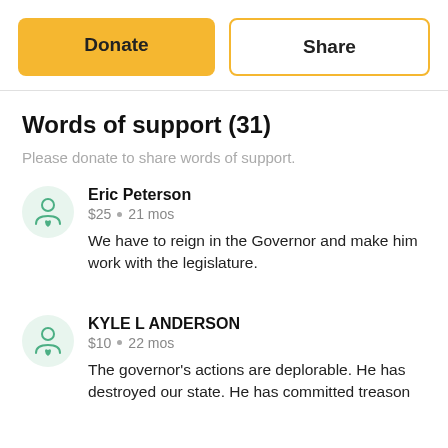[Figure (other): Two buttons: 'Donate' (filled orange/yellow) and 'Share' (outlined with yellow border)]
Words of support (31)
Please donate to share words of support.
Eric Peterson
$25 • 21 mos
We have to reign in the Governor and make him work with the legislature.
KYLE L ANDERSON
$10 • 22 mos
The governor's actions are deplorable. He has destroyed our state. He has committed treason